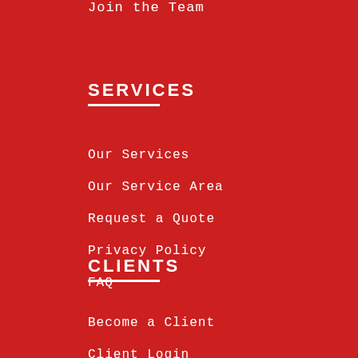Join the Team
SERVICES
Our Services
Our Service Area
Request a Quote
Privacy Policy
FAQ
CLIENTS
Become a Client
Client Login